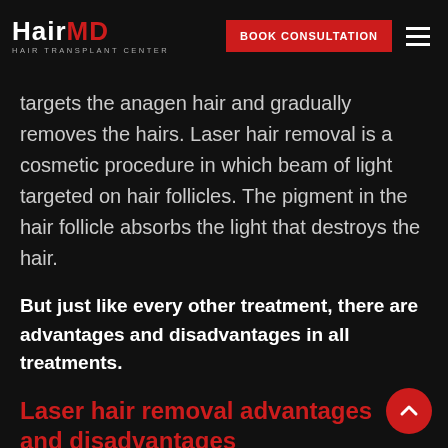HairMD HAIR TRANSPLANT CENTER | BOOK CONSULTATION
targets the anagen hair and gradually removes the hairs. Laser hair removal is a cosmetic procedure in which beam of light targeted on hair follicles. The pigment in the hair follicle absorbs the light that destroys the hair.
But just like every other treatment, there are advantages and disadvantages in all treatments.
Laser hair removal advantages and disadvantages
Advantages